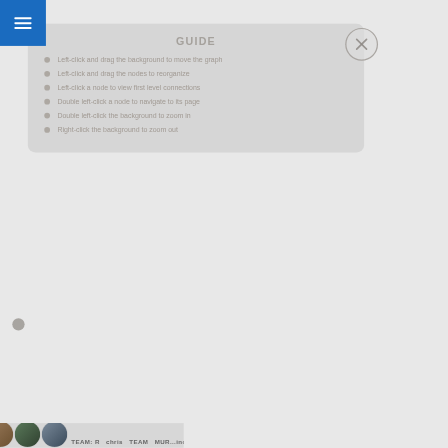GUIDE
Left-click and drag the background to move the graph
Left-click and drag the nodes to reorganize
Left-click a node to view first level connections
Double left-click a node to navigate to its page
Double left-click the background to zoom in
Right-click the background to zoom out
[Figure (screenshot): Team member avatar photos at the bottom of the screen with label TEAM: R... chris TEAM MUR...inde...]
TEAM: R chris TEAM MURindeo...